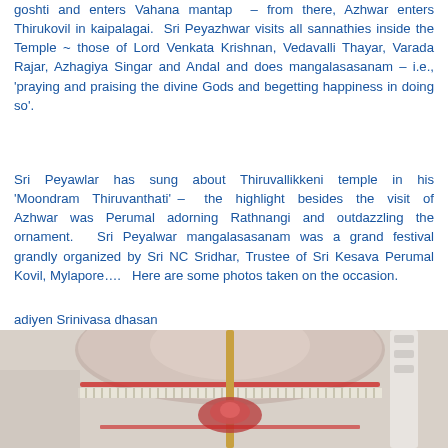goshti and enters Vahana mantap – from there, Azhwar enters Thirukovil in kaipalagai. Sri Peyazhwar visits all sannathies inside the Temple ~ those of Lord Venkata Krishnan, Vedavalli Thayar, Varada Rajar, Azhagiya Singar and Andal and does mangalasasanam – i.e., 'praying and praising the divine Gods and begetting happiness in doing so'.
Sri Peyawlar has sung about Thiruvallikkeni temple in his 'Moondram Thiruvanthati' – the highlight besides the visit of Azhwar was Perumal adorning Rathnangi and outdazzling the ornament. Sri Peyalwar mangalasasanam was a grand festival grandly organized by Sri NC Sridhar, Trustee of Sri Kesava Perumal Kovil, Mylapore…. Here are some photos taken on the occasion.
adiyen Srinivasa dhasan
[Mamandur Srinivasan Sampathkumar living in Thiruvallikkeni divyadesam]
26.9.2019
[Figure (photo): Photo of a decorative ceremonial umbrella (chhatri) with red and white fabric, floral embroidery, fringe trim, and a golden pole. A second white structure is partially visible to the right.]